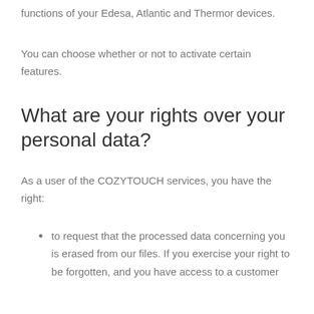functions of your Edesa, Atlantic and Thermor devices.
You can choose whether or not to activate certain features.
What are your rights over your personal data?
As a user of the COZYTOUCH services, you have the right:
to request that the processed data concerning you is erased from our files. If you exercise your right to be forgotten, and you have access to a customer